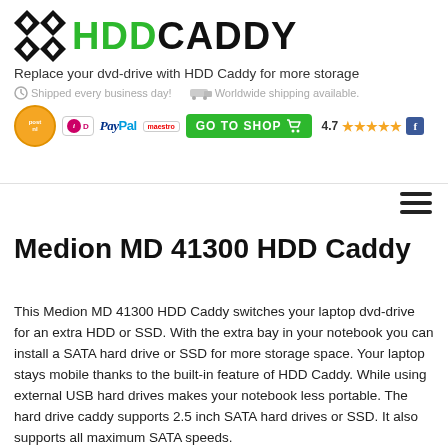[Figure (logo): HDD Caddy logo with diamond pattern icon in black, HDD in green and CADDY in black bold text]
Replace your dvd-drive with HDD Caddy for more storage
Shipped every business day!  Worldwide shipping available.
[Figure (infographic): Payment and shop banner: PostNL logo, iDeal, PayPal, Maestro payment icons, GO TO SHOP green button with cart icon, 4.7 star rating with Facebook icon]
Medion MD 41300 HDD Caddy
This Medion MD 41300 HDD Caddy switches your laptop dvd-drive for an extra HDD or SSD. With the extra bay in your notebook you can install a SATA hard drive or SSD for more storage space. Your laptop stays mobile thanks to the built-in feature of HDD Caddy. While using external USB hard drives makes your notebook less portable. The hard drive caddy supports 2.5 inch SATA hard drives or SSD. It also supports all maximum SATA speeds.